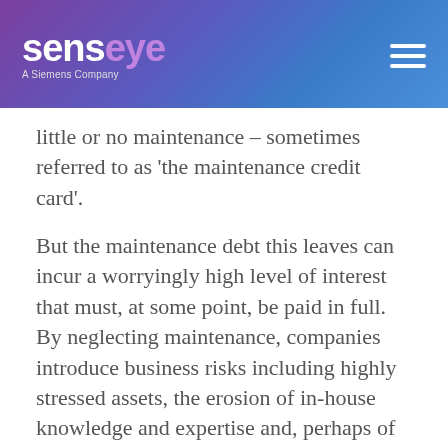Senseye – A Siemens Company
little or no maintenance – sometimes referred to as 'the maintenance credit card'.
But the maintenance debt this leaves can incur a worryingly high level of interest that must, at some point, be paid in full. By neglecting maintenance, companies introduce business risks including highly stressed assets, the erosion of in-house knowledge and expertise and, perhaps of greatest concern, a level of maintenance burden from which they might never recover.
There is an alternative to this risky, high-interest approach, however. A predictive